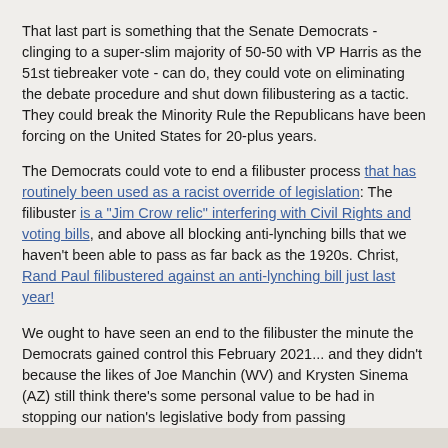That last part is something that the Senate Democrats - clinging to a super-slim majority of 50-50 with VP Harris as the 51st tiebreaker vote - can do, they could vote on eliminating the debate procedure and shut down filibustering as a tactic. They could break the Minority Rule the Republicans have been forcing on the United States for 20-plus years.
The Democrats could vote to end a filibuster process that has routinely been used as a racist override of legislation: The filibuster is a "Jim Crow relic" interfering with Civil Rights and voting bills, and above all blocking anti-lynching bills that we haven't been able to pass as far back as the 1920s. Christ, Rand Paul filibustered against an anti-lynching bill just last year!
We ought to have seen an end to the filibuster the minute the Democrats gained control this February 2021... and they didn't because the likes of Joe Manchin (WV) and Krysten Sinema (AZ) still think there's some personal value to be had in stopping our nation's legislative body from passing